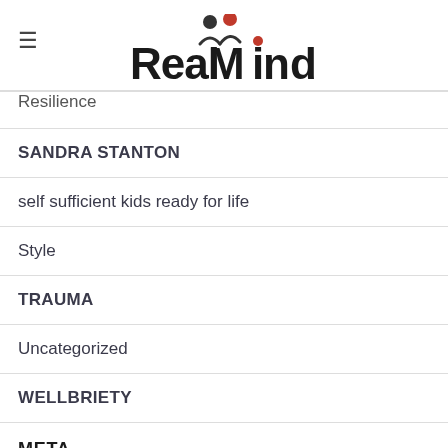[Figure (logo): RealMindz logo with two stylized person icons above the text, the 'i' dot in red]
Resilience
SANDRA STANTON
self sufficient kids ready for life
Style
TRAUMA
Uncategorized
WELLBRIETY
META
Log in